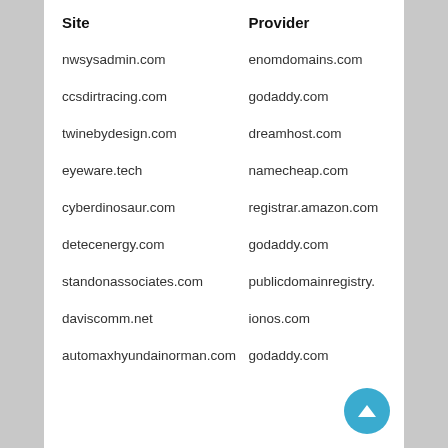| Site | Provider |
| --- | --- |
| nwsysadmin.com | enomdomains.com |
| ccsdirtracing.com | godaddy.com |
| twinebydesign.com | dreamhost.com |
| eyeware.tech | namecheap.com |
| cyberdinosaur.com | registrar.amazon.com |
| detecenergy.com | godaddy.com |
| standonassociates.com | publicdomainregistry. |
| daviscomm.net | ionos.com |
| automaxhyundainorman.com | godaddy.com |